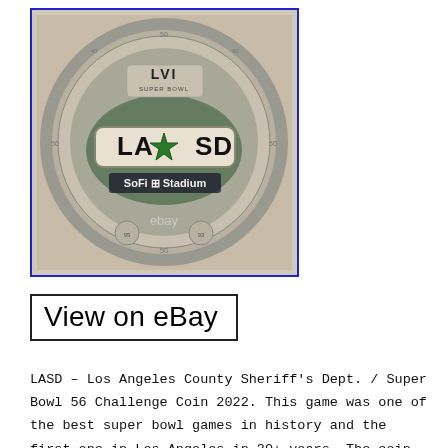[Figure (photo): A silver/antique gold challenge coin featuring the LASD (Los Angeles County Sheriff's Department) badge in the center, with 'SoFi Stadium' text and Super Bowl LVI branding. The coin shows a football field design with yard lines around the border and 'LA SD' prominently displayed. An eBay watermark is visible at the bottom of the image. The image has a blue border.]
View on eBay
LASD – Los Angeles County Sheriff's Dept. / Super Bowl 56 Challenge Coin 2022. This game was one of the best super bowl games in history and the first one in Los Angeles in 30+ years. The coin design has the LASD badge in the front that was produced to commemorate the Super Bowl. The back of the coin has SoFi Stadium with the LASD patch. These coins are done in silver and antique gold metal, and